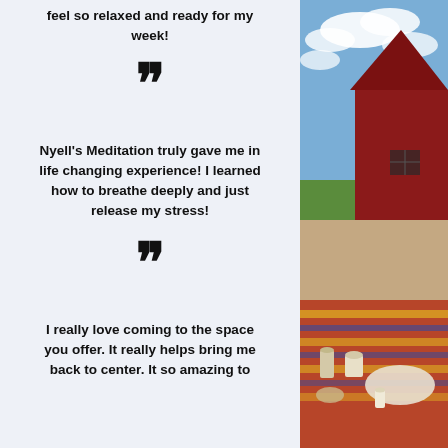feel so relaxed and ready for my week!
””
Nyell's Meditation truly gave me in life changing experience! I learned how to breathe deeply and just release my stress!
””
I really love coming to the space you offer. It really helps bring me back to center. It so amazing to
[Figure (photo): Outdoor scene with a red barn building, blue sky with clouds, and a colorful rug/carpet area on the ground with candles and cushions arranged on it.]